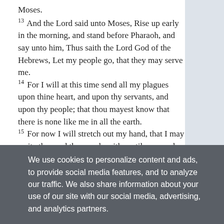Moses.
13 And the Lord said unto Moses, Rise up early in the morning, and stand before Pharaoh, and say unto him, Thus saith the Lord God of the Hebrews, Let my people go, that they may serve me.
14 For I will at this time send all my plagues upon thine heart, and upon thy servants, and upon thy people; that thou mayest know that there is none like me in all the earth.
15 For now I will stretch out my hand, that I may smite thee and thy people with pestilence; and thou shalt be cut off from the earth.
16 And in very deed for this cause have I raised thee up, for to shew in thee my power; and that my name may be declared throughout all the earth.
17 As yet exaltest thou thyself against my people, that thou
We use cookies to personalize content and ads, to provide social media features, and to analyze our traffic. We also share information about your use of our site with our social media, advertising, and analytics partners.